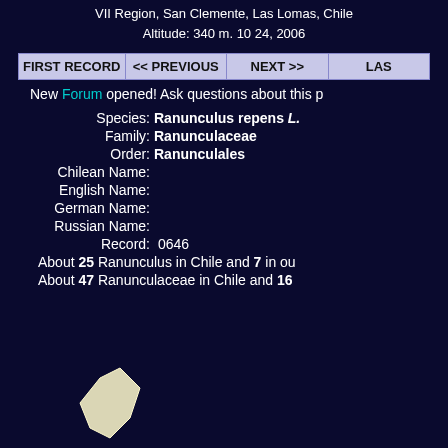VII Region, San Clemente, Las Lomas, Chile
Altitude: 340 m. 10 24, 2006
FIRST RECORD  << PREVIOUS  NEXT >>  LAST
New Forum opened! Ask questions about this p
Species: Ranunculus repens L.
Family: Ranunculaceae
Order: Ranunculales
Chilean Name:
English Name:
German Name:
Russian Name:
Record: 0646
About 25 Ranunculus in Chile and 7 in ou
About 47 Ranunculaceae in Chile and 16
[Figure (map): Partial map image visible at bottom left of page]